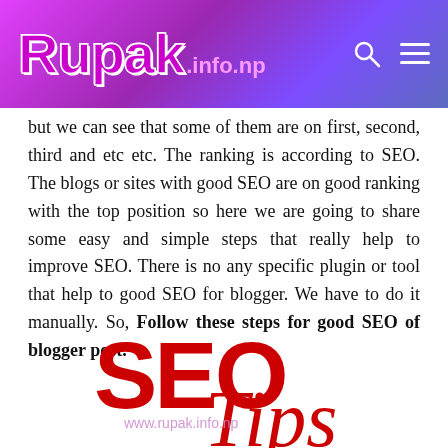Rupak.info.np
but we can see that some of them are on first, second, third and etc etc. The ranking is according to SEO. The blogs or sites with good SEO are on good ranking with the top position so here we are going to share some easy and simple steps that really help to improve SEO. There is no any specific plugin or tool that help to good SEO for blogger. We have to do it manually. So, Follow these steps for good SEO of blogger post.
[Figure (illustration): SEO Tips graphic with large red 'SEO' text, watermark 'www.rupak.info.np', and italic red 'Tips' text below]